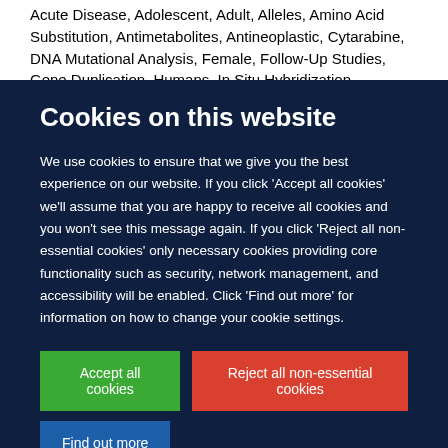Acute Disease, Adolescent, Adult, Alleles, Amino Acid Substitution, Antimetabolites, Antineoplastic, Cytarabine, DNA Mutational Analysis, Female, Follow-Up Studies, Gene Duplication, Humans, In Situ Hybridization, Fluorescence,
Cookies on this website
We use cookies to ensure that we give you the best experience on our website. If you click 'Accept all cookies' we'll assume that you are happy to receive all cookies and you won't see this message again. If you click 'Reject all non-essential cookies' only necessary cookies providing core functionality such as security, network management, and accessibility will be enabled. Click 'Find out more' for information on how to change your cookie settings.
Accept all cookies
Reject all non-essential cookies
Find out more